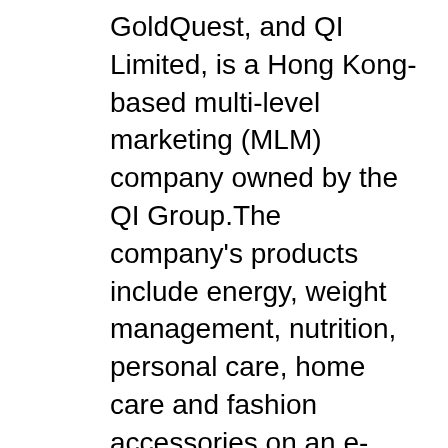GoldQuest, and QI Limited, is a Hong Kong-based multi-level marketing (MLM) company owned by the QI Group.The company's products include energy, weight management, nutrition, personal care, home care and fashion accessories on an e-commerce platform. Why is QNET banned? The Bombay High Court while rejecting anticipatory bail applications of five accused in the multi-crore QNet scam, has observed that "the deceit and fraud is camouflaged under the name of e-marketing and business".30 Dec 2018 Is it good to join QNET? Multi-level marketing opportunities are a good source of income once you have laid the grounds of a solid foundation.More than monetary benefits, QNET also provides their members with continuing training and support. QNET business can be the real deal and should you join QNET or not depends only from you.17 Feb 2018 How